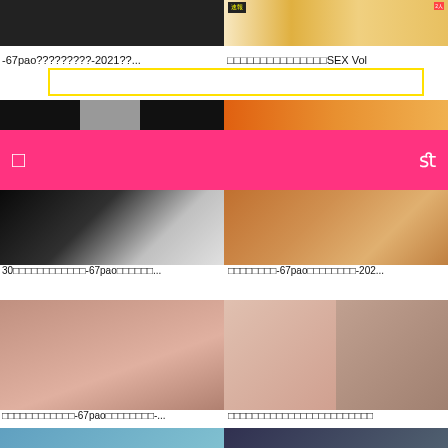[Figure (screenshot): Top left thumbnail image - dark toned video thumbnail]
[Figure (screenshot): Top right thumbnail - Japanese DVD/magazine cover with text and barcode]
-67pao?????????-2021??...
□□□□□□□□□□□□□□□SEX Vol
[Figure (screenshot): Search bar UI element with yellow border]
[Figure (screenshot): Middle left thumbnail - dark tones with partial figure]
[Figure (screenshot): Middle right thumbnail - orange/warm toned room scene]
[Figure (screenshot): Navigation bar - hot pink/magenta with icons]
[Figure (screenshot): Lower left thumbnail - dark tones figure video]
[Figure (screenshot): Lower right thumbnail - warm toned room scene video]
30□□□□□□□□□□□□-67pao□□□□□□...
□□□□□□□□-67pao□□□□□□□□-202...
[Figure (screenshot): Second row left thumbnail - skin tones]
[Figure (screenshot): Second row right thumbnail - split panel skin tones]
□□□□□□□□□□□□-67pao□□□□□□□□-...
□□□□□□□□□□□□□□□□□□□□□□□□
[Figure (screenshot): Bottom row left partial thumbnail - blue/teal tones]
[Figure (screenshot): Bottom row right partial thumbnail - dark room scene]